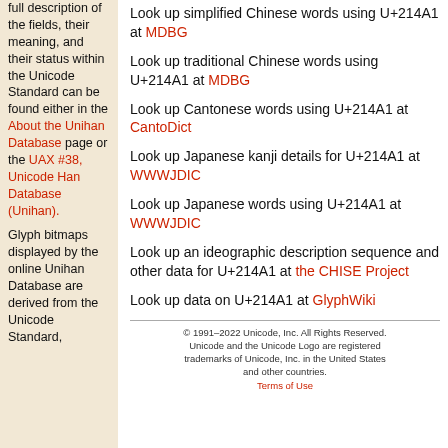full description of the fields, their meaning, and their status within the Unicode Standard can be found either in the About the Unihan Database page or the UAX #38, Unicode Han Database (Unihan).
Look up simplified Chinese words using U+214A1 at MDBG
Look up traditional Chinese words using U+214A1 at MDBG
Look up Cantonese words using U+214A1 at CantoDict
Look up Japanese kanji details for U+214A1 at WWWJDIC
Look up Japanese words using U+214A1 at WWWJDIC
Look up an ideographic description sequence and other data for U+214A1 at the CHISE Project
Look up data on U+214A1 at GlyphWiki
Glyph bitmaps displayed by the online Unihan Database are derived from the Unicode Standard,
© 1991-2022 Unicode, Inc. All Rights Reserved. Unicode and the Unicode Logo are registered trademarks of Unicode, Inc. in the United States and other countries. Terms of Use